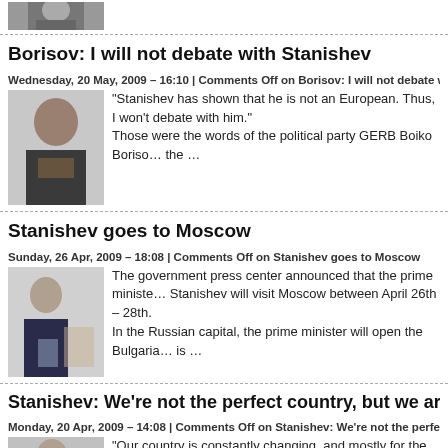[Figure (photo): Partial photo visible at top of page]
Borisov: I will not debate with Stanishev
Wednesday, 20 May, 2009 – 16:10 | Comments Off on Borisov: I will not debate with Stanis…
[Figure (photo): Photo of Borisov in a suit]
"Stanishev has shown that he is not an European. Thus, I won't debate with him."
Those were the words of the political party GERB Boiko Boriso… the …
Stanishev goes to Moscow
Sunday, 26 Apr, 2009 – 18:08 | Comments Off on Stanishev goes to Moscow
[Figure (photo): Photo of Stanishev in a suit holding papers]
The government press center announced that the prime ministe… Stanishev will visit Moscow between April 26th – 28th.
In the Russian capital, the prime minister will open the Bulgaria… is …
Stanishev: We're not the perfect country, but we are improving
Monday, 20 Apr, 2009 – 14:08 | Comments Off on Stanishev: We're not the perfect country…
[Figure (photo): Photo of a man speaking at a podium with microphones]
"Our country is constantly changing, and mostly for the good. T… we were never the perfect country – but our direction is definite… the prime minister of Bulgaria …